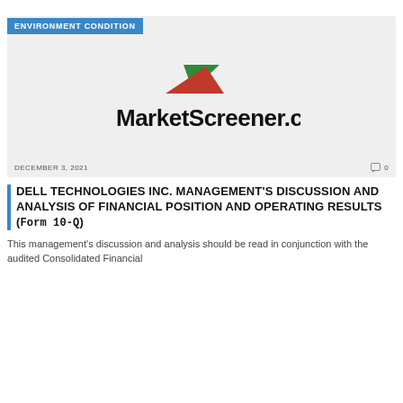ENVIRONMENT CONDITION
[Figure (logo): MarketScreener.com logo with green and red arrow/chevron graphic above the text]
DECEMBER 3, 2021
0
DELL TECHNOLOGIES INC. MANAGEMENT'S DISCUSSION AND ANALYSIS OF FINANCIAL POSITION AND OPERATING RESULTS (Form 10-Q)
This management's discussion and analysis should be read in conjunction with the audited Consolidated Financial